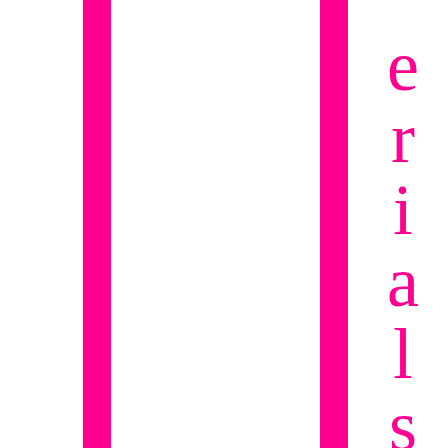[Figure (illustration): Two vertical magenta/hot-pink bars on a white background, one on the left side and one toward the right, with vertically-oriented large serif letters spelling 'erials' on the far right side of the page.]
erials